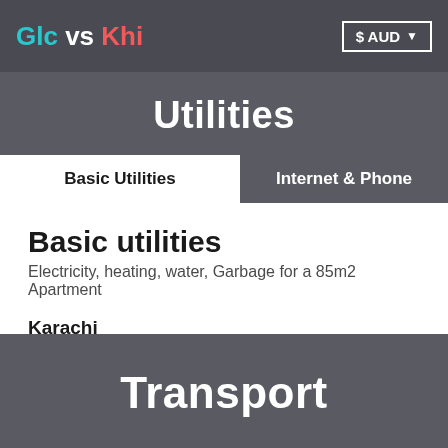Glc vs Khi | $ AUD
Utilities
Basic Utilities
Internet & Phone
Basic utilities
Electricity, heating, water, Garbage for a 85m2 Apartment
Karachi
Gold Coast
Transport